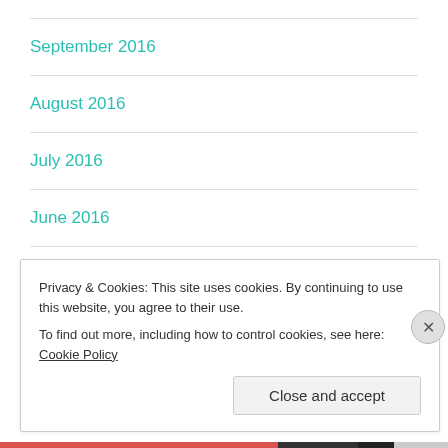September 2016
August 2016
July 2016
June 2016
May 2016
Privacy & Cookies: This site uses cookies. By continuing to use this website, you agree to their use.
To find out more, including how to control cookies, see here: Cookie Policy
Close and accept